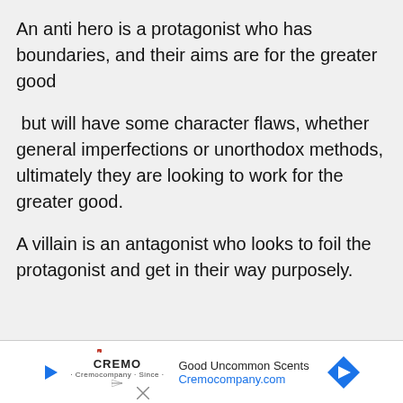An anti hero is a protagonist who has boundaries, and their aims are for the greater good
but will have some character flaws, whether general imperfections or unorthodox methods, ultimately they are looking to work for the greater good.
A villain is an antagonist who looks to foil the protagonist and get in their way purposely.
[Figure (other): Advertisement banner for Cremo (Good Uncommon Scents, Cremocompany.com) with play button logo, brand name, tagline, URL in blue, and a blue diamond-shaped arrow icon on the right.]